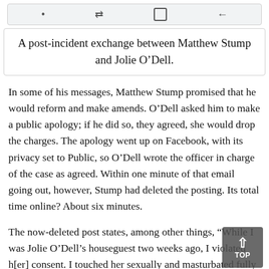[Figure (screenshot): Mobile browser toolbar with navigation icons: dot, swap/redirect icon, square/copy icon, back arrow icon]
A post-incident exchange between Matthew Stump and Jolie O'Dell.
In some of his messages, Matthew Stump promised that he would reform and make amends. O'Dell asked him to make a public apology; if he did so, they agreed, she would drop the charges. The apology went up on Facebook, with its privacy set to Public, so O'Dell wrote the officer in charge of the case as agreed. Within one minute of that email going out, however, Stump had deleted the posting. Its total time online? About six minutes.
The now-deleted post states, among other things, “While I was Jolie O'Dell’s houseguest two weeks ago, I violated h[er] consent. I touched her sexually and masturbated fully nude next